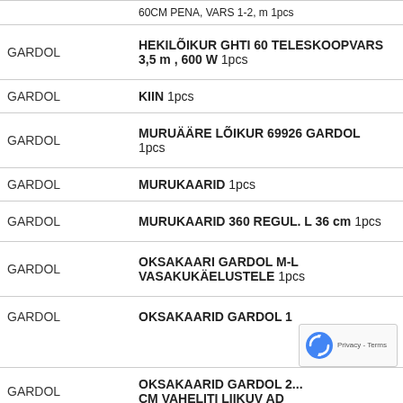| Brand | Product | Qty |
| --- | --- | --- |
|  | 60CM PENA, VARS 1-2, m 1pcs |  |
| GARDOL | HEKILÕIKUR GHTI 60 TELESKOOPVARS 3,5 m , 600 W 1pcs |  |
| GARDOL | KIIN 1pcs |  |
| GARDOL | MURUÄÄRE LÕIKUR 69926 GARDOL 1pcs |  |
| GARDOL | MURUKAARID 1pcs |  |
| GARDOL | MURUKAARID 360 REGUL. L 36 cm 1pcs |  |
| GARDOL | OKSAKAARI GARDOL M-L VASAKUKÄELUSTELE 1pcs |  |
| GARDOL | OKSAKAARID GARDOL 1... |  |
| GARDOL | OKSAKAARID GARDOL 2... CM VAHELITI LIIKUV AD |  |